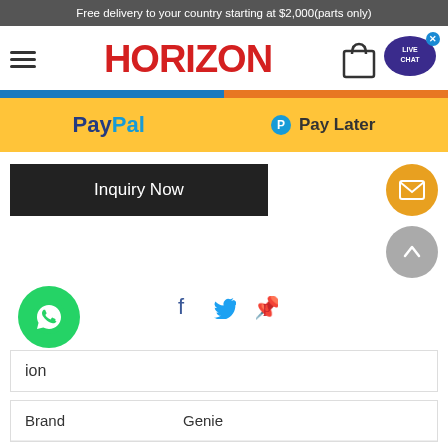Free delivery to your country starting at $2,000(parts only)
[Figure (logo): Horizon logo in red bold text with hamburger menu and shopping bag / live chat icons]
[Figure (infographic): Blue and orange progress bar split 50/50]
[Figure (infographic): PayPal yellow payment bar with PayPal and Pay Later options]
[Figure (infographic): Inquiry Now black button with orange mail and gray up-arrow floating action buttons]
[Figure (infographic): Social share icons: Facebook, Twitter, Pinterest]
[Figure (infographic): WhatsApp green floating button]
ion
| Brand |  |
| --- | --- |
| Brand | Genie |